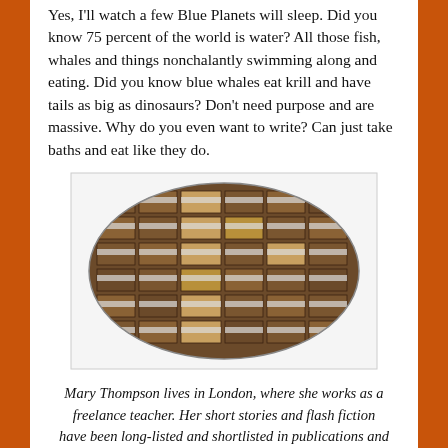Yes, I'll watch a few Blue Planets will sleep. Did you know 75 percent of the world is water? All those fish, whales and things nonchalantly swimming along and eating. Did you know blue whales eat krill and have tails as big as dinosaurs? Don't need purpose and are massive. Why do you even want to write? Can just take baths and eat like they do.
[Figure (photo): Oval-shaped photo of an antique card catalog with many small wooden drawers, each with metal label holders.]
Mary Thompson lives in London, where she works as a freelance teacher. Her short stories and flash fiction have been long-listed and shortlisted in publications and competitions including Flash 500, Fish Short Memoir Competition, Writing Magazine, Retreat West and Reflex Fiction, and are forthcoming at Ellipsis Zine. Follow her @MaryRuth69